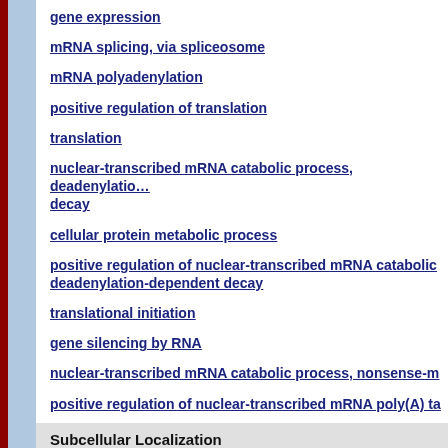gene expression
mRNA splicing, via spliceosome
mRNA polyadenylation
positive regulation of translation
translation
nuclear-transcribed mRNA catabolic process, deadenylation-dependent decay
cellular protein metabolic process
positive regulation of nuclear-transcribed mRNA catabolic deadenylation-dependent decay
translational initiation
gene silencing by RNA
nuclear-transcribed mRNA catabolic process, nonsense-m…
positive regulation of nuclear-transcribed mRNA poly(A) ta…
Subcellular Localization
membrane